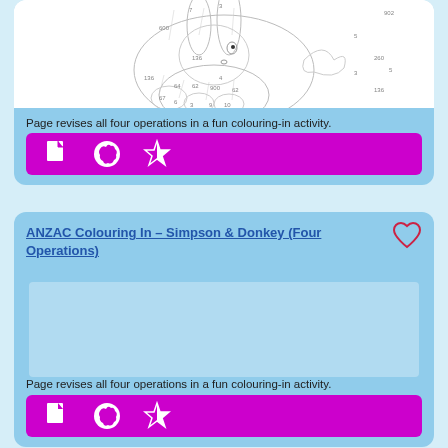[Figure (illustration): Coloring-in page showing a rabbit/bunny with number segments, partially visible at the top of the first card]
Page revises all four operations in a fun colouring-in activity.
[Figure (infographic): Purple action bar with three icons: document/page icon, Australia map icon, and half-star icon]
ANZAC Colouring In – Simpson & Donkey (Four Operations)
[Figure (illustration): Placeholder/loading image area for ANZAC Colouring In activity]
Page revises all four operations in a fun colouring-in activity.
[Figure (infographic): Purple action bar with three icons: document/page icon, Australia map icon, and half-star icon]